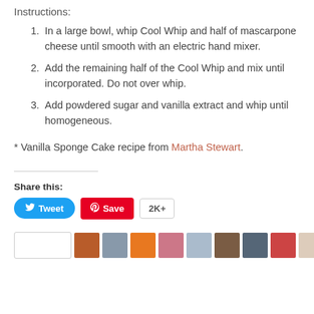Instructions:
In a large bowl, whip Cool Whip and half of mascarpone cheese until smooth with an electric hand mixer.
Add the remaining half of the Cool Whip and mix until incorporated. Do not over whip.
Add powdered sugar and vanilla extract and whip until homogeneous.
* Vanilla Sponge Cake recipe from Martha Stewart.
Share this:
[Figure (other): Social sharing buttons: Tweet (Twitter, blue), Save (Pinterest, red), 2K+ count badge]
[Figure (other): Row of small avatar/thumbnail images at bottom of page]